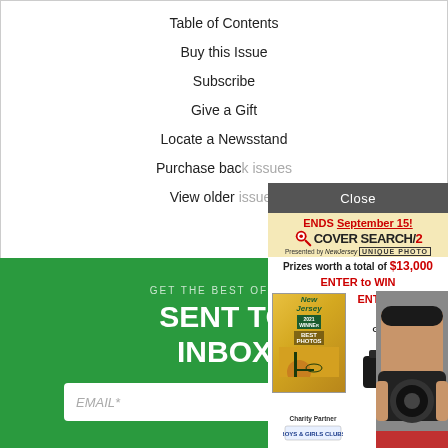Table of Contents
Buy this Issue
Subscribe
Give a Gift
Locate a Newsstand
Purchase back issues
View older issues
[Figure (screenshot): Close button bar overlay in dark grey with white text 'Close']
[Figure (advertisement): Cover Search ad panel: 'ENDS September 15! COVER SEARCH/20 Presented by NewJersey UNIQUE PHOTO. Prizes worth a total of $13,000. ENTER to WIN. Grand Prize camera. Charity Partner Boys & Girls Clubs logo. Person holding camera on right side.']
GET THE BEST OF W...
SENT TO YOUR INBOX
EMAIL*